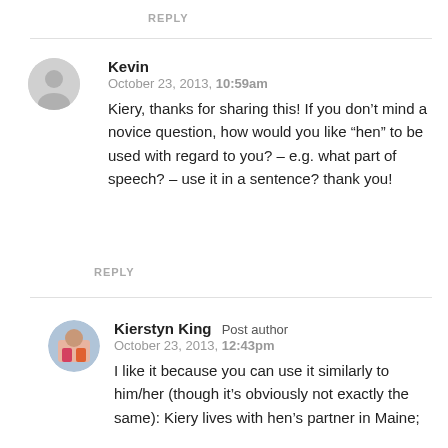REPLY
Kevin
October 23, 2013, 10:59am
Kiery, thanks for sharing this! If you don’t mind a novice question, how would you like “hen” to be used with regard to you? – e.g. what part of speech? – use it in a sentence? thank you!
REPLY
Kierstyn King Post author
October 23, 2013, 12:43pm
I like it because you can use it similarly to him/her (though it’s obviously not exactly the same): Kiery lives with hen’s partner in Maine;